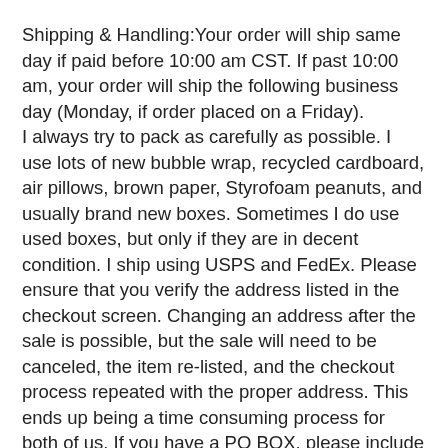Shipping & Handling:Your order will ship same day if paid before 10:00 am CST. If past 10:00 am, your order will ship the following business day (Monday, if order placed on a Friday). I always try to pack as carefully as possible. I use lots of new bubble wrap, recycled cardboard, air pillows, brown paper, Styrofoam peanuts, and usually brand new boxes. Sometimes I do use used boxes, but only if they are in decent condition. I ship using USPS and FedEx. Please ensure that you verify the address listed in the checkout screen. Changing an address after the sale is possible, but the sale will need to be canceled, the item re-listed, and the checkout process repeated with the proper address. This ends up being a time consuming process for both of us. If you have a PO BOX, please include your street address as well. I will be certain to send USPS to your PO BOX and FedEx to your